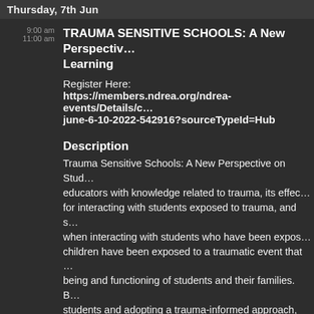Thursday, 7th Jun
9:00 am
11:00 am
TRAUMA SENSITIVE SCHOOLS: A New Perspective on Student Learning
Register Here:
https://members.ndrea.org/ndrea-events/Details/c/june-6-10-2022-542916?sourceTypeId=Hub
Description
Trauma Sensitive Schools: A New Perspective on Student Learning provides educators with knowledge related to trauma, its effects on students, strategies for interacting with students exposed to trauma, and self-care strategies when interacting with students who have been exposed to trauma. Many children have been exposed to a traumatic event that has impacted well being and functioning of students and their families. By supporting students and adopting a trauma-informed approach, educators play a role in mitigating both the short- and long- term effects of trauma. This course will leave you with a renewed commitment to reach some of our most vulnerable their families. Participants will attend all 5 virtual sessions and complete study after each session. Graduate credit is available!